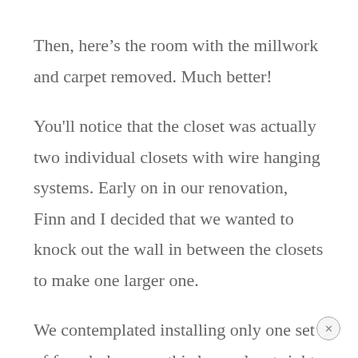Then, here’s the room with the millwork and carpet removed. Much better!
You'll notice that the closet was actually two individual closets with wire hanging systems. Early on in our renovation, Finn and I decided that we wanted to knock out the wall in between the closets to make one larger one.
We contemplated installing only one set of french doors on this large closet right in the middle, but ultimately we decided to go with two sets of french doors that